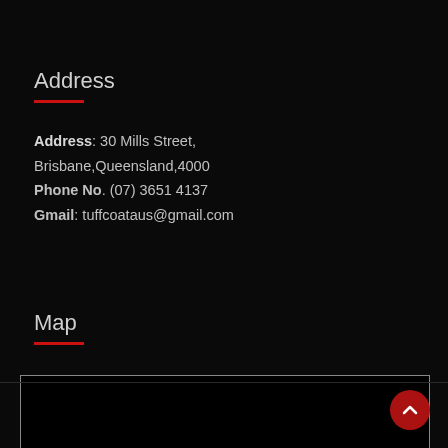Address
Address: 30 Mills Street,
Brisbane,Queensland,4000
Phone No. (07) 3651 4137
Gmail: tuffcoataus@gmail.com
Map
[Figure (map): Embedded map placeholder, black rectangle with grey border]